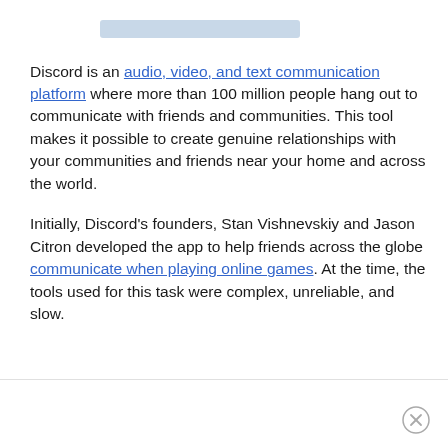Discord is an audio, video, and text communication platform where more than 100 million people hang out to communicate with friends and communities. This tool makes it possible to create genuine relationships with your communities and friends near your home and across the world.
Initially, Discord’s founders, Stan Vishnevskiy and Jason Citron developed the app to help friends across the globe communicate when playing online games. At the time, the tools used for this task were complex, unreliable, and slow.